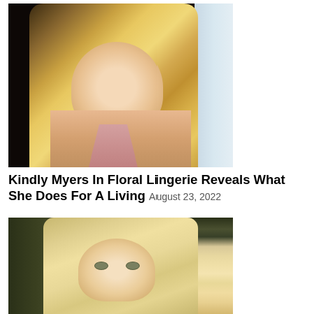[Figure (photo): Close-up photo of a blonde woman with long wavy hair, wearing a light-colored bikini top, posing in front of a curtain]
Kindly Myers In Floral Lingerie Reveals What She Does For A Living August 23, 2022
[Figure (photo): Close-up photo of a smiling blonde woman with straight hair with highlights, appears to be at an event]